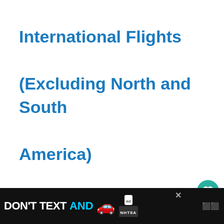International Flights (Excluding North and South America)
Economy: 66 pounds (30 kg)
Premium Economy: 88 pounds (40 kg)